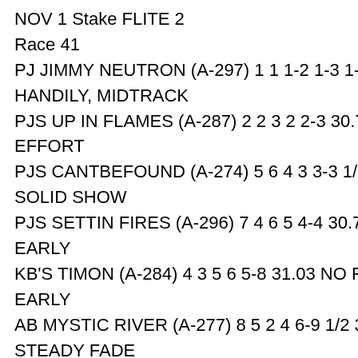NOV 1 Stake FLITE 2
Race 41
PJ JIMMY NEUTRON (A-297) 1 1 1-2 1-3 1-3 30.4 HANDILY, MIDTRACK
PJS UP IN FLAMES (A-287) 2 2 3 2 2-3 30.71 GOO EFFORT
PJS CANTBEFOUND (A-274) 5 6 4 3 3-3 1/2 30.74 SOLID SHOW
PJS SETTIN FIRES (A-296) 7 4 6 5 4-4 30.76 CROW EARLY
KB'S TIMON (A-284) 4 3 5 6 5-8 31.03 NO ROOM EARLY
AB MYSTIC RIVER (A-277) 8 5 2 4 6-9 1/2 31.14 STEADY FADE
VICTOR JAY RANGEL OR PAUL P. BITTERMAN,